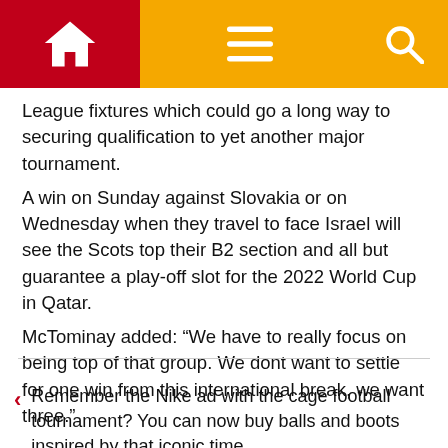Navigation bar with home, menu, and search icons
League fixtures which could go a long way to securing qualification to yet another major tournament.
A win on Sunday against Slovakia or on Wednesday when they travel to face Israel will see the Scots top their B2 section and all but guarantee a play-off slot for the 2022 World Cup in Qatar.
McTominay added: “We have to really focus on being top of that group. We dont want to settle for one win from this international break, we want three.”
Remember the Nike ad with the cage football tournament? You can now buy balls and boots inspired by that iconic time